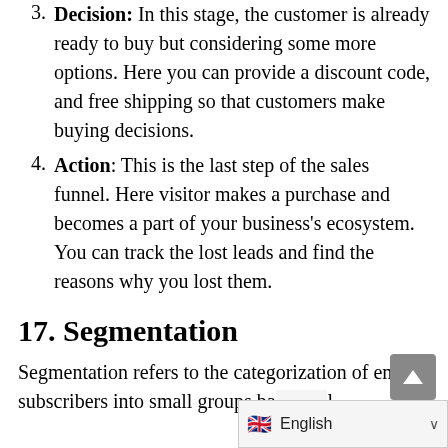Decision: In this stage, the customer is already ready to buy but considering some more options. Here you can provide a discount code, and free shipping so that customers make buying decisions.
Action: This is the last step of the sales funnel. Here visitor makes a purchase and becomes a part of your business's ecosystem. You can track the lost leads and find the reasons why you lost them.
17. Segmentation
Segmentation refers to the categorization of email subscribers into small groups ba[sed on]...